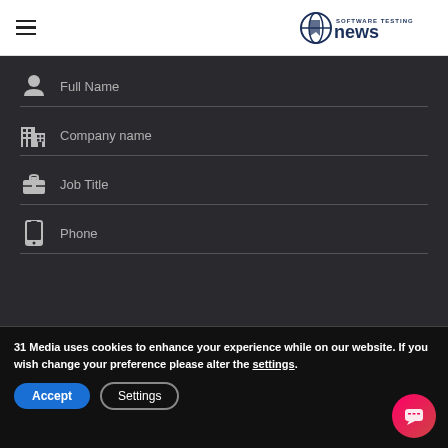Software Testing News (logo and hamburger menu)
Full Name
Company name
Job Title
Phone
31 Media uses cookies to enhance your experience while on our website.  If you wish change your preference please alter the settings.